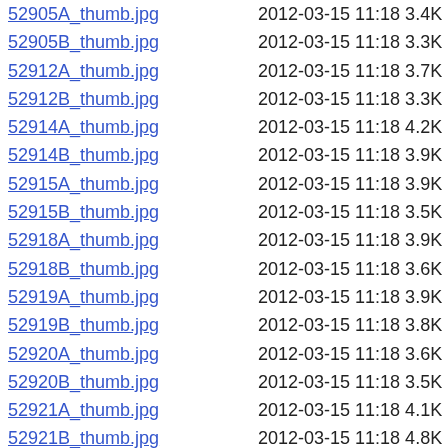52905A_thumb.jpg  2012-03-15 11:18 3.4K
52905B_thumb.jpg  2012-03-15 11:18 3.3K
52912A_thumb.jpg  2012-03-15 11:18 3.7K
52912B_thumb.jpg  2012-03-15 11:18 3.3K
52914A_thumb.jpg  2012-03-15 11:18 4.2K
52914B_thumb.jpg  2012-03-15 11:18 3.9K
52915A_thumb.jpg  2012-03-15 11:18 3.9K
52915B_thumb.jpg  2012-03-15 11:18 3.5K
52918A_thumb.jpg  2012-03-15 11:18 3.9K
52918B_thumb.jpg  2012-03-15 11:18 3.6K
52919A_thumb.jpg  2012-03-15 11:18 3.9K
52919B_thumb.jpg  2012-03-15 11:18 3.8K
52920A_thumb.jpg  2012-03-15 11:18 3.6K
52920B_thumb.jpg  2012-03-15 11:18 3.5K
52921A_thumb.jpg  2012-03-15 11:18 4.1K
52921B_thumb.jpg  2012-03-15 11:18 4.8K
52922A_thumb.jpg  2012-03-15 11:18 3.7K
52922B_thumb.jpg  2012-03-15 11:18 3.8K
52923A_thumb.jpg  2012-03-15 11:18 3.6K
52923B_thumb.jpg  2012-03-15 11:18 3.6K
52924A_thumb.jpg  2012-03-15 11:18 5.3K